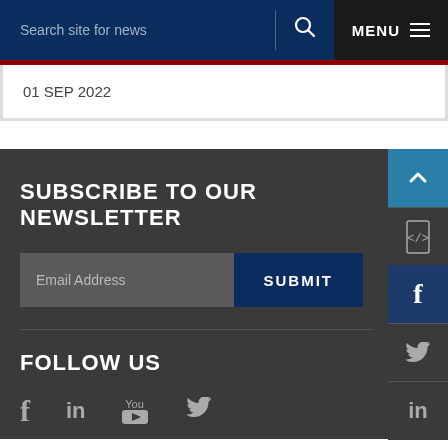Search site for news  MENU
01 SEP 2022
SUBSCRIBE TO OUR NEWSLETTER
Email Address
SUBMIT
FOLLOW US